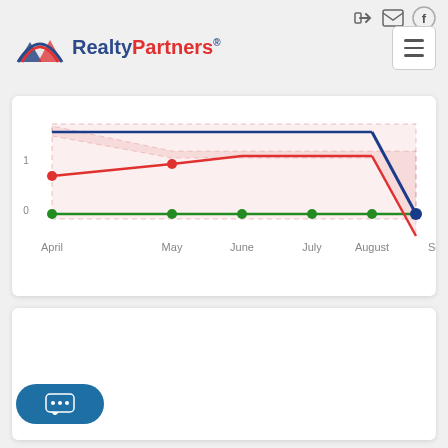[Figure (logo): RealtyPartners logo with mountain/arch icon in red/blue and text 'RealtyPartners' in blue and red]
[Figure (line-chart): Three line series: blue (top, declining sharply at end), red (middle, rising then declining), green (flat at bottom). Pink shaded region between lines. Y-axis shows 0. X-axis shows months April through September (partially cut off).]
[Figure (other): Empty white card/panel below chart]
[Figure (other): Chat button (teal rounded rectangle with three white dots representing ellipsis/chat)]